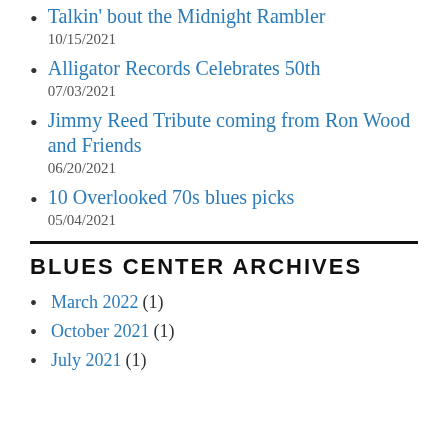Talkin' bout the Midnight Rambler
10/15/2021
Alligator Records Celebrates 50th
07/03/2021
Jimmy Reed Tribute coming from Ron Wood and Friends
06/20/2021
10 Overlooked 70s blues picks
05/04/2021
BLUES CENTER ARCHIVES
March 2022 (1)
October 2021 (1)
July 2021 (1)